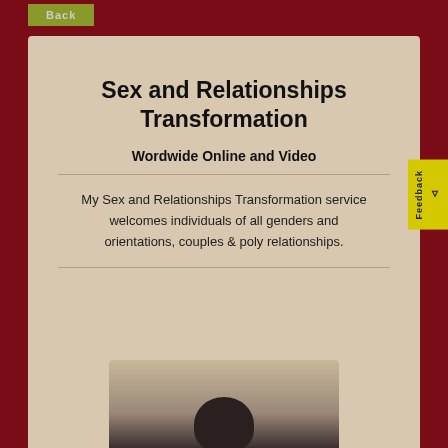Back
Sex and Relationships Transformation
Wordwide Online and Video
My Sex and Relationships Transformation service welcomes individuals of all genders and orientations, couples & poly relationships.
[Figure (photo): Photo of a person's head/hair from above, partially visible at bottom of card]